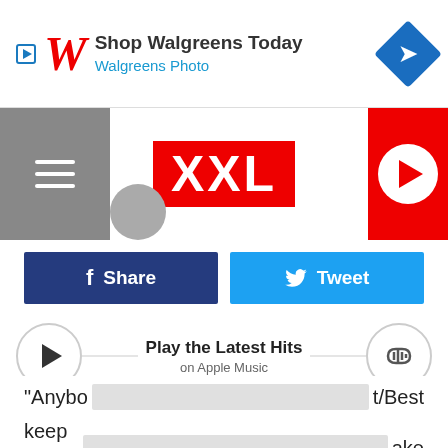[Figure (screenshot): Walgreens advertisement banner with play button, Walgreens W logo, text 'Shop Walgreens Today' and 'Walgreens Photo', and a blue diamond arrow icon]
[Figure (screenshot): XXL magazine website navigation bar with hamburger menu on left, XXL red logo in center, red circle play button on right, and partial person thumbnail]
[Figure (screenshot): Facebook Share button (dark blue) and Twitter Tweet button (light blue)]
[Figure (screenshot): Apple Music player widget with play button, 'Play the Latest Hits' title, 'on Apple Music' subtitle, horizontal line, and volume/speaker button]
Tech N9ne and Krizz Kaliko link up for "Drama," the latest collaboration off of Dominion, the Strange Music collabos album that's dropping on April 7. Tech handles the verses while Krizz comes in for the melodies. It's a pretty great collab between the two MCs
"Anybo...t/Best keep it...ake